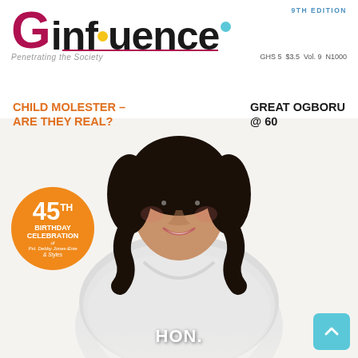Ginfluence
9TH EDITION
Penetrating the Society
GHS 5  $3.5  Vol. 9  N1000
CHILD MOLESTER – ARE THEY REAL?
GREAT OGBORU @ 60
[Figure (photo): Portrait of a smiling woman with wavy dark hair wearing a white outfit, magazine cover photo]
45TH BIRTHDAY CELEBRATION of Pst. Debby Jones-Enie & Styles
HON.